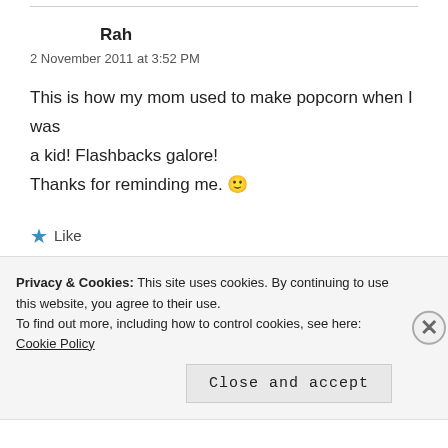Rah
2 November 2011 at 3:52 PM
This is how my mom used to make popcorn when I was a kid! Flashbacks galore! Thanks for reminding me. 🙂
★ Like
Privacy & Cookies: This site uses cookies. By continuing to use this website, you agree to their use. To find out more, including how to control cookies, see here: Cookie Policy
Close and accept